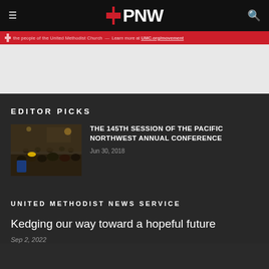PNW
the people of the United Methodist Church — Learn more at UMC.org/movement
EDITOR PICKS
[Figure (photo): Conference attendees seated at tables in a large hall]
THE 145TH SESSION OF THE PACIFIC NORTHWEST ANNUAL CONFERENCE
Jun 30, 2018
UNITED METHODIST NEWS SERVICE
Kedging our way toward a hopeful future
Sep 2, 2022